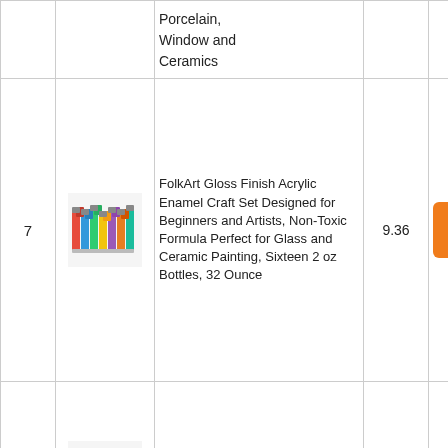| # | Image | Product Name | Score | Link |
| --- | --- | --- | --- | --- |
|  |  | Porcelain, Window and Ceramics |  |  |
| 7 | [image] | FolkArt Gloss Finish Acrylic Enamel Craft Set Designed for Beginners and Artists, Non-Toxic Formula Perfect for Glass and Ceramic Painting, Sixteen 2 oz Bottles, 32 Ounce | 9.36 | Check Price |
| 8 | [image] | Rust-Oleum 7786502 Stops Rust Brush On Paint, 32 Fl Oz (Pack of 1), Gloss Smoke Gray, 12 | 9.36 | Check Price |